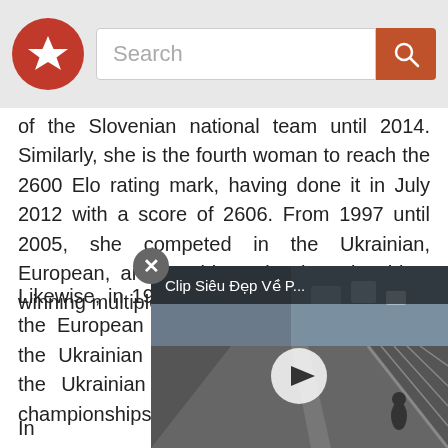Search bar with logo
of the Slovenian national team until 2014. Similarly, she is the fourth woman to reach the 2600 Elo rating mark, having done it in July 2012 with a score of 2606. From 1997 until 2005, she competed in the Ukrainian, European, and World Youth Championships, winning multiple medals.
Likewise, in 1998 and 2000, she won gold at the European Under-10 girls' championship, the Ukrainian under-10 girls' championship, the Ukrainian and championships in girls' championships World U16 girls' ch
In 1997 and 19 European Under-10 girls' championship,
[Figure (screenshot): Video overlay showing 'Clip Siêu Đẹp Về P...' with a road/bridge cycling scene and a play button]